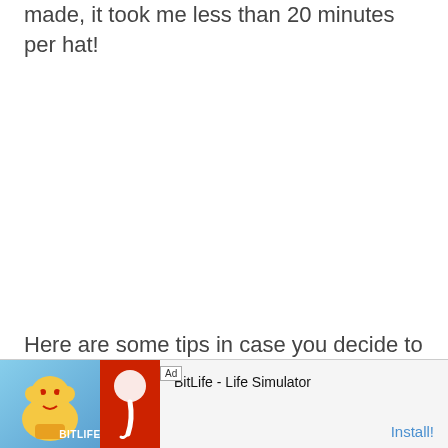made, it took me less than 20 minutes per hat!
Here are some tips in case you decide to try t...
[Figure (screenshot): Mobile advertisement banner for BitLife - Life Simulator app, showing an Ad label, animated character image on blue background, BitLife logo on red background, app name text, and Install button]